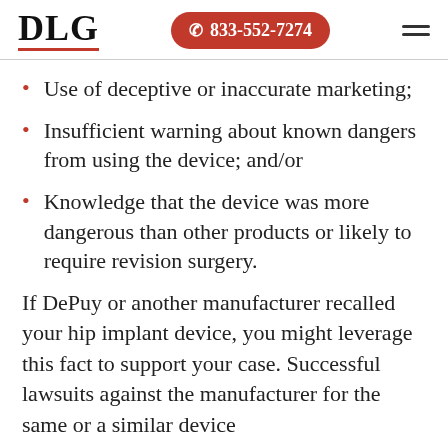DLG | 833-552-7274
Use of deceptive or inaccurate marketing;
Insufficient warning about known dangers from using the device; and/or
Knowledge that the device was more dangerous than other products or likely to require revision surgery.
If DePuy or another manufacturer recalled your hip implant device, you might leverage this fact to support your case. Successful lawsuits against the manufacturer for the same or a similar device